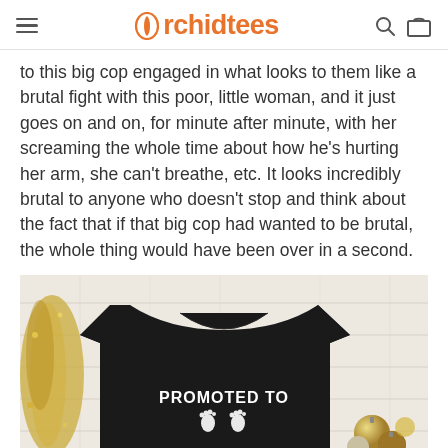Orchidtees
to this big cop engaged in what looks to them like a brutal fight with this poor, little woman, and it just goes on and on, for minute after minute, with her screaming the whole time about how he's hurting her arm, she can't breathe, etc. It looks incredibly brutal to anyone who doesn't stop and think about the fact that if that big cop had wanted to be brutal, the whole thing would have been over in a second.
[Figure (photo): A black t-shirt with white text reading 'PROMOTED TO' and baby footprints, displayed on a white wood surface with gold Christmas decorations around it.]